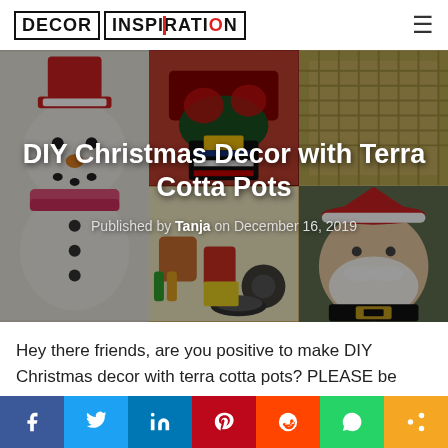DECOR INSPIRATION
[Figure (photo): Collage of DIY Christmas terra cotta pot decorations: top-left shows poinsettia in a pot decorated as Santa boots, center shows a snowman made from pots, top-right shows a woven/textured pot, bottom-left shows craft supplies, bottom-right shows a Santa Claus pot figurine.]
DIY Christmas Decor with Terra Cotta Pots
Published by Tanja on December 16, 2019
Hey there friends, are you positive to make DIY Christmas decor with terra cotta pots? PLEASE be kind to spend your free time with us seeing lovely ideas and making the same in your free time! I believe that we can all be creative and
f  in  p  reddit  WhatsApp  share